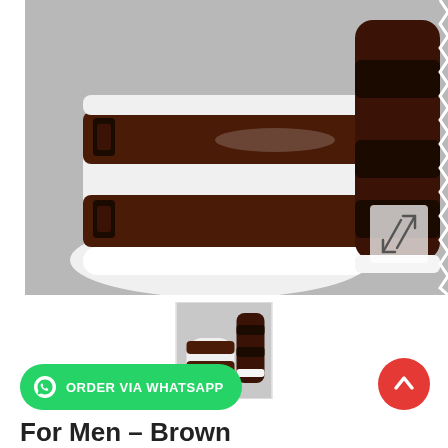[Figure (photo): Main product photo: a pair of brown and white two-strap sandals for men, shown from above on a grey surface. One sandal is fully visible face-up; the other is partially visible on the right side.]
[Figure (photo): Thumbnail image showing a smaller view of the same brown and white two-strap sandals from a slightly different angle.]
ORDER VIA WHATSAPP
For Men - Brown